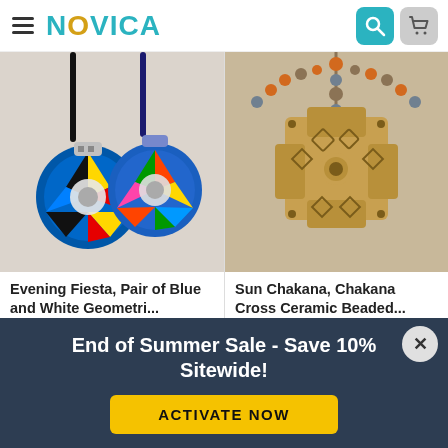NOVICA
[Figure (photo): Two colorful ceramic pendant necklaces with geometric blue/white/multicolor designs on black cords]
Evening Fiesta, Pair of Blue and White Geometri...
Length: 26"
Dina
[Figure (photo): A ceramic Chakana cross pendant on a beaded necklace with wooden and stone beads]
Sun Chakana, Chakana Cross Ceramic Beaded...
Length: 19.75"
Dina
End of Summer Sale - Save 10% Sitewide!
ACTIVATE NOW